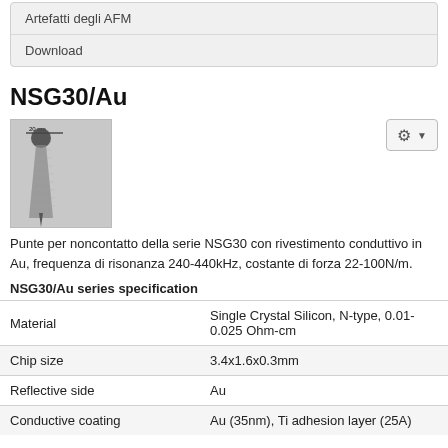Artefatti degli AFM
Download
NSG30/Au
[Figure (photo): TEM/SEM image of an AFM tip from the NSG30/Au series, showing a tapered needle-like tip with scale bar of 20 nm]
Punte per noncontatto della serie NSG30 con rivestimento conduttivo in Au, frequenza di risonanza 240-440kHz, costante di forza 22-100N/m.
NSG30/Au series specification
|  |  |
| --- | --- |
| Material | Single Crystal Silicon, N-type, 0.01-0.025 Ohm-cm |
| Chip size | 3.4x1.6x0.3mm |
| Reflective side | Au |
| Conductive coating | Au (35nm), Ti adhesion layer (25A) |